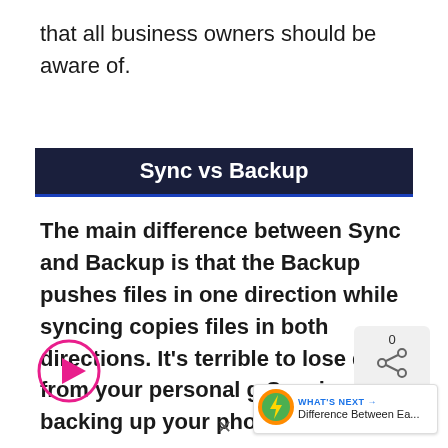that all business owners should be aware of.
Sync vs Backup
The main difference between Sync and Backup is that the Backup pushes files in one direction while syncing copies files in both directions. It's terrible to lose data from your personal g Syncing and backing up your phone can
[Figure (other): Pink circle play button overlay on text]
[Figure (other): Share widget showing count 0 and share icon]
[Figure (other): What's Next widget with lightning bolt icon and text 'Difference Between Ea...']